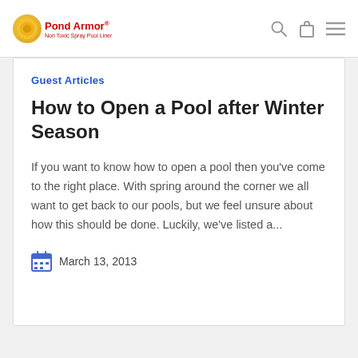Pond Armor
Guest Articles
How to Open a Pool after Winter Season
If you want to know how to open a pool then you've come to the right place. With spring around the corner we all want to get back to our pools, but we feel unsure about how this should be done. Luckily, we've listed a...
March 13, 2013